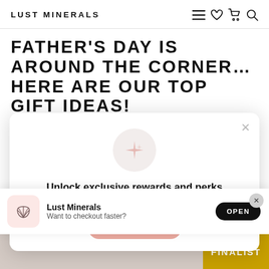LUST MINERALS
FATHER'S DAY IS AROUND THE CORNER… HERE ARE OUR TOP GIFT IDEAS!
That's right, you guessed it! Father's Day is
[Figure (screenshot): Rewards modal popup with sparkle icon, text 'Unlock exclusive rewards and perks', 'Sign up or Log in', and a pink button. Has an X close button in top right.]
[Figure (screenshot): App install banner for Lust Minerals with shell icon, text 'Lust Minerals - Want to checkout faster?' and black OPEN button. Has an X close button.]
[Figure (photo): Partial bottom image showing a person and a FINALIST badge in gold/yellow.]